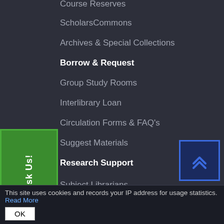Course Reserves
ScholarsCommons
Archives & Special Collections
Borrow & Request
Group Study Rooms
Interlibrary Loan
Circulation Forms & FAQ's
Suggest Materials
Research Support
Subject Librarians
Research Guides
Ask Us
[Figure (screenshot): Green 'Ask Us!' button on left side, vertically oriented text]
[Figure (screenshot): Blue scroll-to-top button with double chevron arrows on right side]
This site uses cookies and records your IP address for usage statistics. Read More
OK